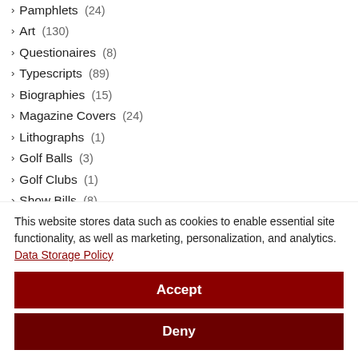Pamphlets (24)
Art (130)
Questionaires (8)
Typescripts (89)
Biographies (15)
Magazine Covers (24)
Lithographs (1)
Golf Balls (3)
Golf Clubs (1)
Show Bills (8)
Scripts (7)
Lobby Cards (6)
This website stores data such as cookies to enable essential site functionality, as well as marketing, personalization, and analytics. Data Storage Policy
Accept
Deny